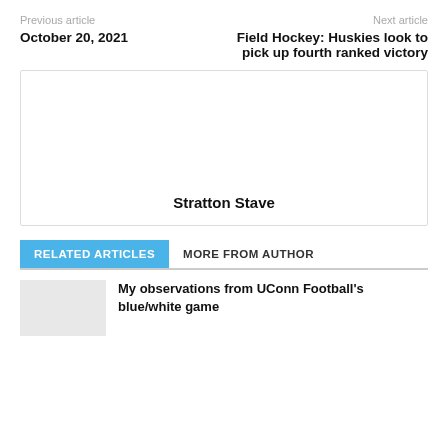Previous article / Next article
October 20, 2021
Field Hockey: Huskies look to pick up fourth ranked victory
[Figure (other): Author profile box with name Stratton Stave]
RELATED ARTICLES / MORE FROM AUTHOR
My observations from UConn Football's blue/white game